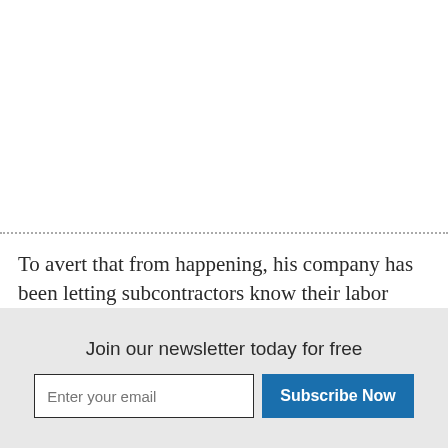To avert that from happening, his company has been letting subcontractors know their labor needs months early so that they can reserve enough people.
Fi...
Join our newsletter today for free